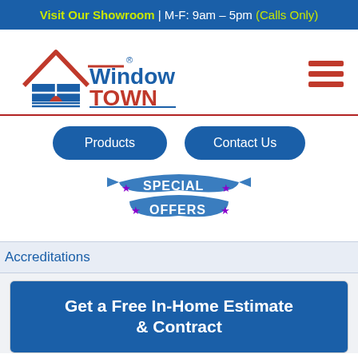Visit Our Showroom | M-F: 9am – 5pm (Calls Only)
[Figure (logo): Window Town logo with red house icon and blue text]
Products
Contact Us
[Figure (illustration): Special Offers banner with blue ribbon and purple stars]
Accreditations
Get a Free In-Home Estimate & Contract